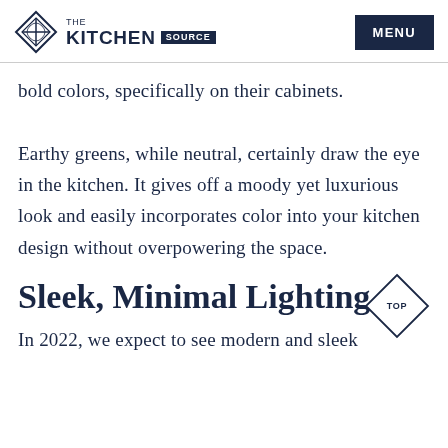THE KITCHEN SOURCE | MENU
bold colors, specifically on their cabinets. Earthy greens, while neutral, certainly draw the eye in the kitchen. It gives off a moody yet luxurious look and easily incorporates color into your kitchen design without overpowering the space.
Sleek, Minimal Lighting
In 2022, we expect to see modern and sleek